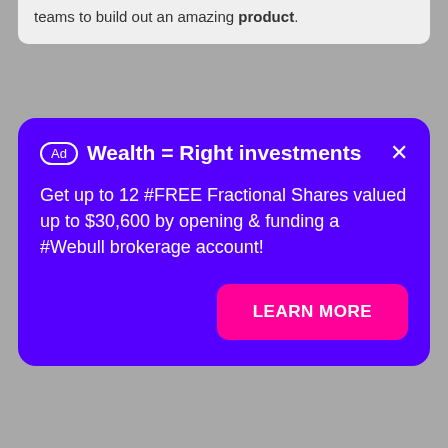teams to build out an amazing product.
[Figure (screenshot): Purple advertisement card for Webull with title 'Wealth = Right investments', body text about free fractional shares, and a pink 'LEARN MORE' button]
Ad Wealth = Right investments
Get up to 12 #FREE Fractional Shares valued up to $30,600 by opening & funding a #Webull brokerage account!
LEARN MORE